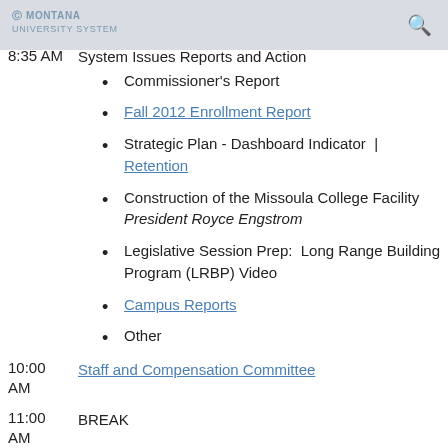MONTANA UNIVERSITY SYSTEM
8:30 AM   Welcome by President Royce Engstrom
8:35 AM   System Issues Reports and Action
Commissioner's Report
Fall 2012 Enrollment Report
Strategic Plan - Dashboard Indicator  |  Retention
Construction of the Missoula College Facility President Royce Engstrom
Legislative Session Prep:  Long Range Building Program (LRBP) Video
Campus Reports
Other
10:00 AM   Staff and Compensation Committee
11:00 AM   BREAK
11:15 AM   K-12 Partnerships
Dr. Georgia Cobbs – UM Missoula